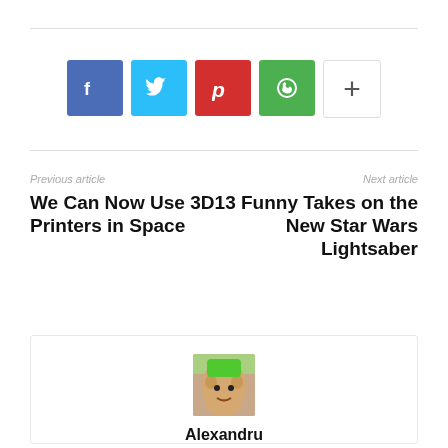[Figure (infographic): Row of social sharing buttons: Facebook (blue), Twitter (cyan), Pinterest (red), WhatsApp (green), More/Plus (white with border)]
Previous article
Next article
We Can Now Use 3D Printers in Space
13 Funny Takes on the New Star Wars Lightsaber
[Figure (photo): Author profile photo showing a colorful illustrated character with green mohawk hair]
Alexandru